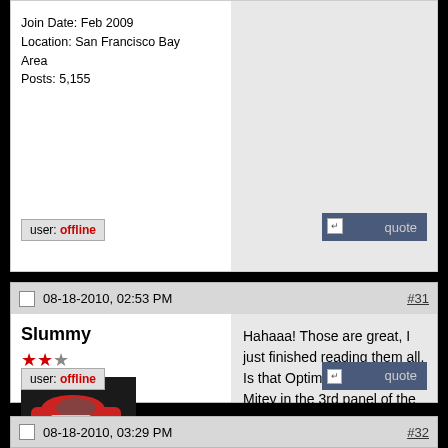Join Date: Feb 2009
Location: San Francisco Bay Area
Posts: 5,155
user: offline
quote
08-18-2010, 02:53 PM    #31
Slummy
[Figure (photo): Avatar showing a red racing car (hatchback) on a dark background]
View User's Garage
Drives: Black LB
Join Date: Aug 2006
Location: D.C.
Posts: 249
Hahaaa! Those are great, I just finished reading them all. Is that Optimus Prime behind Mitey in the 3rd panel of the July 26th strip?
user: offline
quote
08-18-2010, 03:29 PM    #32